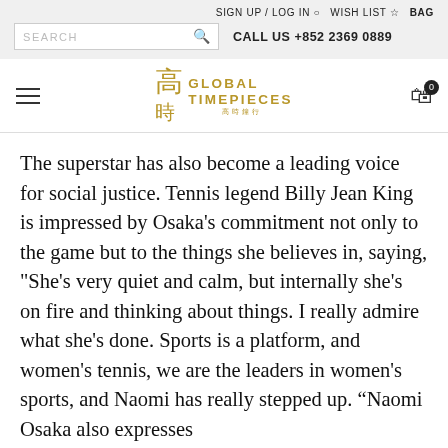SIGN UP / LOG IN   WISH LIST   BAG
SEARCH   CALL US +852 2369 0889
Global Timepieces logo
The superstar has also become a leading voice for social justice. Tennis legend Billy Jean King is impressed by Osaka’s commitment not only to the game but to the things she believes in, saying, "She’s very quiet and calm, but internally she’s on fire and thinking about things. I really admire what she’s done. Sports is a platform, and women’s tennis, we are the leaders in women’s sports, and Naomi has really stepped up. “Naomi Osaka also expresses